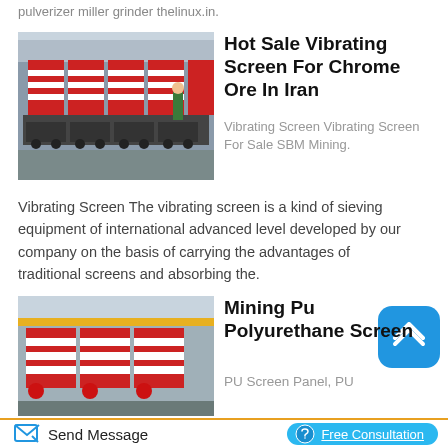pulverizer miller grinder thelinux.in.
Hot Sale Vibrating Screen For Chrome Ore In Iran
[Figure (photo): Industrial vibrating screen machines in red and white stacked in a large warehouse facility]
Vibrating Screen Vibrating Screen For Sale SBM Mining. Vibrating Screen The vibrating screen is a kind of sieving equipment of international advanced level developed by our company on the basis of carrying the advantages of traditional screens and absorbing the.
[Figure (photo): Industrial mining polyurethane screen equipment in red and white inside a large factory with yellow overhead crane]
Mining Pu Polyurethane Screen
PU Screen Panel, PU
Send Message
Free Consultation